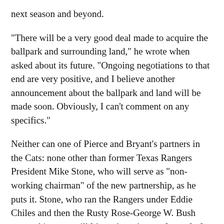next season and beyond.
"There will be a very good deal made to acquire the ballpark and surrounding land," he wrote when asked about its future. "Ongoing negotiations to that end are very positive, and I believe another announcement about the ballpark and land will be made soon. Obviously, I can't comment on any specifics."
Neither can one of Pierce and Bryant's partners in the Cats: none other than former Texas Rangers President Mike Stone, who will serve as "non-working chairman" of the new partnership, as he puts it. Stone, who ran the Rangers under Eddie Chiles and then the Rusty Rose-George W. Bush ownership group till his resignation at the end of 1990, is currently a professor in SMU's Department of Applied Physiology and Wellness, and says he's been working with Byrant and PIerce on this deal for the last couple of years.